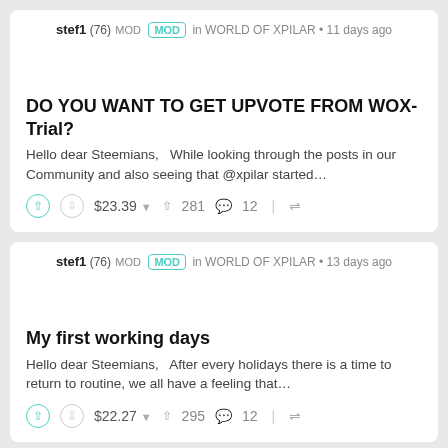stef1 (76) MOD MOD in WORLD OF XPILAR • 11 days ago
DO YOU WANT TO GET UPVOTE FROM WOX-Trial?
Hello dear Steemians,   While looking through the posts in our Community and also seeing that @xpilar started…
$23.39 ▾   ▲ 281   💬 12   ⟲
stef1 (76) MOD MOD in WORLD OF XPILAR • 13 days ago
My first working days
Hello dear Steemians,   After every holidays there is a time to return to routine, we all have a feeling that…
$22.27 ▾   ▲ 295   💬 12   ⟲
⟲ stef1 resteemed